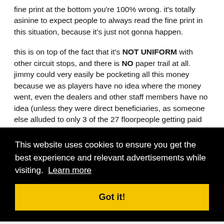fine print at the bottom you're 100% wrong. it's totally asinine to expect people to always read the fine print in this situation, because it's just not gonna happen.
this is on top of the fact that it's NOT UNIFORM with other circuit stops, and there is NO paper trail at all. jimmy could very easily be pocketing all this money because we as players have no idea where the money went, even the dealers and other staff members have no idea (unless they were direct beneficiaries, as someone else alluded to only 3 of the 27 floorpeople getting paid out).
i love that there's always one moronic guy in these threads [partial, obscured by cookie banner] ...tions ...do ...eal
[Figure (screenshot): Cookie consent banner overlay on black background. Text: 'This website uses cookies to ensure you get the best experience and relevant advertisements while visiting. Learn more' with a yellow 'Got it!' button.]
note
#90
jamthepush